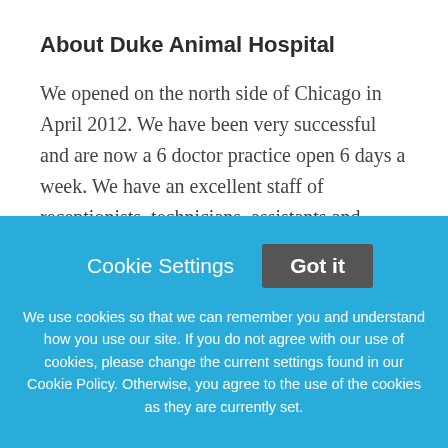About Duke Animal Hospital
We opened on the north side of Chicago in April 2012. We have been very successful and are now a 6 doctor practice open 6 days a week. We have an excellent staff of receptionists, technicians, assistants and hospital attendants. We are fortunate to have an affluent client base who are very dedicated to their pets as family members. Our services include comprehensive wellness, diagnosis and treatment of sick or injured pets, and surgical and
Cookie Settings  Got it
We use cookies so that we can remember you and understand how you use our site. If you do not agree with our use of cookies, please change the current settings found in our Cookie Policy. Otherwise, you agree to the use of the cookies as they are currently set.